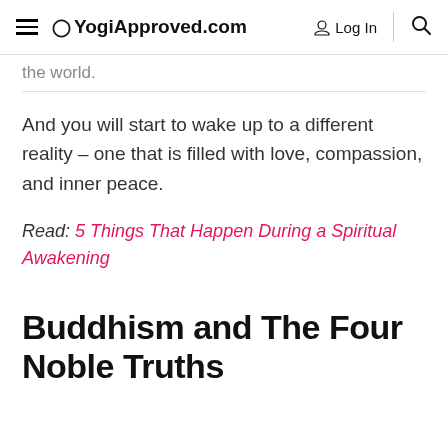YogiApproved.com | Log In | Search
the world.
And you will start to wake up to a different reality – one that is filled with love, compassion, and inner peace.
Read: 5 Things That Happen During a Spiritual Awakening
Buddhism and The Four Noble Truths